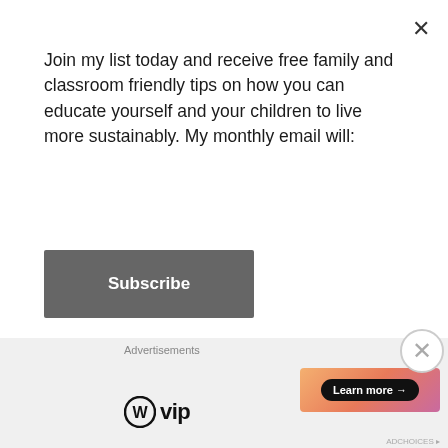Join my list today and receive free family and classroom friendly tips on how you can educate yourself and your children to live more sustainably. My monthly email will:
Subscribe
by Vanessa Ryan-Rendall
This is an excellent book not only to inform young readers about stingless bees, it also engages them in a fun story! Through diagrams of the different bee
Advertisements
[Figure (logo): WordPress VIP logo with WordPress circle icon and 'vip' text]
[Figure (infographic): Gradient advertisement banner with 'Learn more →' button]